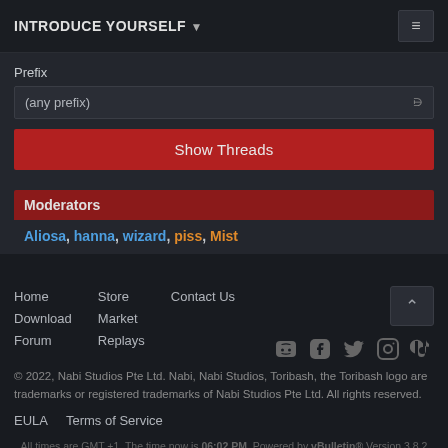INTRODUCE YOURSELF
Prefix
(any prefix)
Show Threads
Moderators
Aliosa, hanna, wizard, piss, Mist
Home Store Contact Us Download Market Forum Replays
© 2022, Nabi Studios Pte Ltd. Nabi, Nabi Studios, Toribash, the Toribash logo are trademarks or registered trademarks of Nabi Studios Pte Ltd. All rights reserved.
EULA   Terms of Service
All times are GMT +1. The time now is 06:02 PM. Powered by vBulletin® Version 3.8.2 Copyright ©2000 - 2022, Jelsoft Enterprises Ltd.